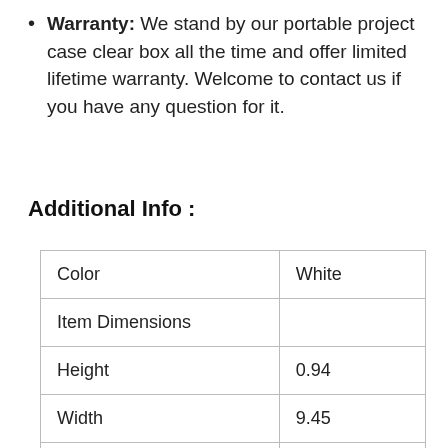Warranty: We stand by our portable project case clear box all the time and offer limited lifetime warranty. Welcome to contact us if you have any question for it.
Additional Info :
| Color | White |
| Item Dimensions |  |
| Height | 0.94 |
| Width | 9.45 |
| Length | 15.52 |